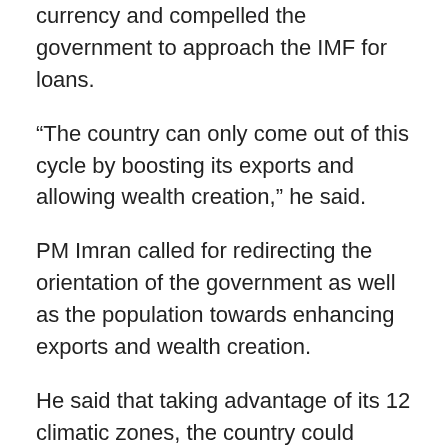currency and compelled the government to approach the IMF for loans.
“The country can only come out of this cycle by boosting its exports and allowing wealth creation,” he said.
PM Imran called for redirecting the orientation of the government as well as the population towards enhancing exports and wealth creation.
He said that taking advantage of its 12 climatic zones, the country could reduce its import bill of commodities like edible oil through indigenous production of palm oil.
Calling them the biggest asset, the premier emphasised the involvement of overseas Pakistanis towards investment and wealth creation in the country.
“China and India had also first attracted their own firms operating abroad to invest at home,” he said. “Pakistani